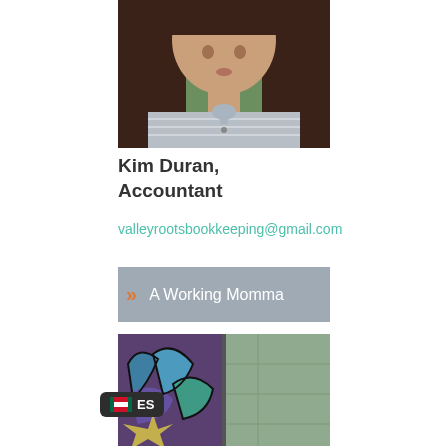[Figure (photo): Profile photo of a woman with long dark hair, wearing a grey striped sleeveless top, photographed from the shoulders up against a green background]
Kim Duran, Accountant
valleyrootsbookkeeping@gmail.com
>> A Working Momma
[Figure (photo): Graffiti art on a wall, colorful blue, purple, and teal lettering on a wooden backdrop]
ES